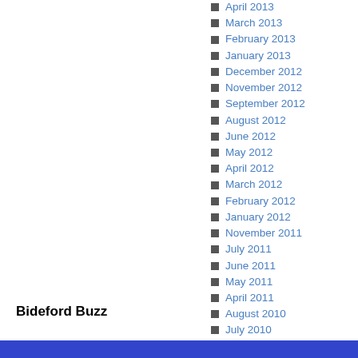April 2013
March 2013
February 2013
January 2013
December 2012
November 2012
September 2012
August 2012
June 2012
May 2012
April 2012
March 2012
February 2012
January 2012
November 2011
July 2011
June 2011
May 2011
April 2011
August 2010
July 2010
Bideford Buzz